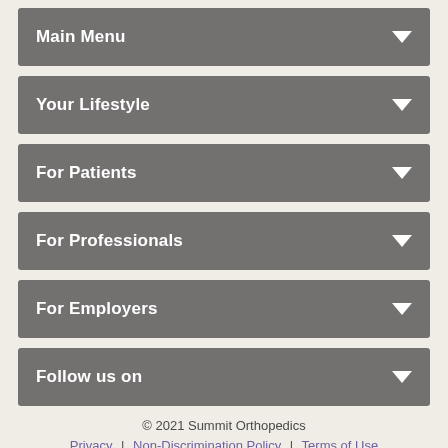Main Menu
Your Lifestyle
For Patients
For Professionals
For Employers
Follow us on
© 2021 Summit Orthopedics
Privacy | Non-Discrimination Policy | Terms of Use
Request An Appointment